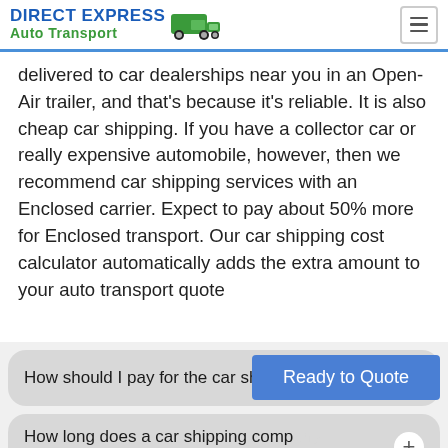DIRECT EXPRESS Auto Transport
delivered to car dealerships near you in an Open-Air trailer, and that's because it's reliable. It is also cheap car shipping. If you have a collector car or really expensive automobile, however, then we recommend car shipping services with an Enclosed carrier. Expect to pay about 50% more for Enclosed transport. Our car shipping cost calculator automatically adds the extra amount to your auto transport quote
How should I pay for the car shipping costs?
[Figure (other): Ready to Quote button overlay]
How long does a car shipping company deliver my vehicle?